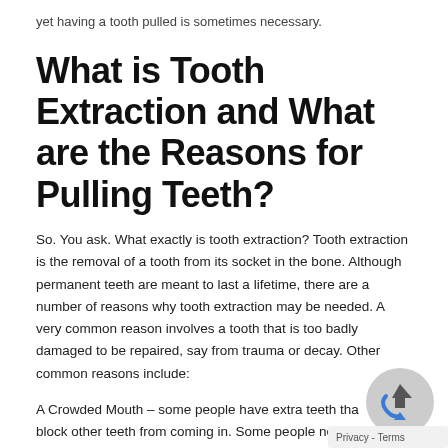yet having a tooth pulled is sometimes necessary.
What is Tooth Extraction and What are the Reasons for Pulling Teeth?
So. You ask. What exactly is tooth extraction? Tooth extraction is the removal of a tooth from its socket in the bone. Although permanent teeth are meant to last a lifetime, there are a number of reasons why tooth extraction may be needed. A very common reason involves a tooth that is too badly damaged to be repaired, say from trauma or decay. Other common reasons include:
A Crowded Mouth – some people have extra teeth that block other teeth from coming in. Some people needing